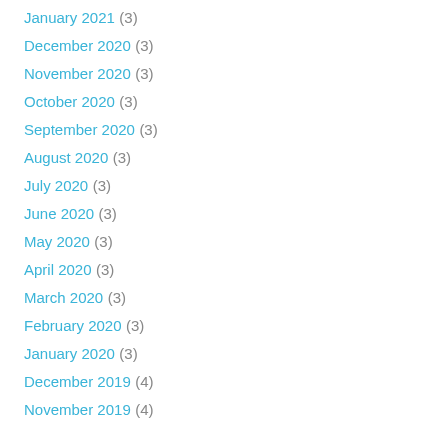January 2021 (3)
December 2020 (3)
November 2020 (3)
October 2020 (3)
September 2020 (3)
August 2020 (3)
July 2020 (3)
June 2020 (3)
May 2020 (3)
April 2020 (3)
March 2020 (3)
February 2020 (3)
January 2020 (3)
December 2019 (4)
November 2019 (4)